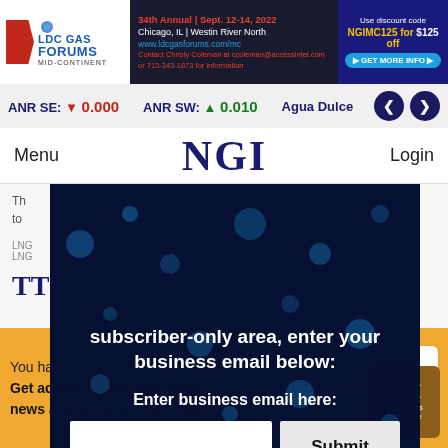[Figure (screenshot): LDC Gas Forums Mid-Continent banner advertisement for 34th Annual conference Sept 12-14 2022 in Chicago IL at Westin River North with discount code NGIMC125 for $125 off]
ANR SE: ▼ 0.000   ANR SW: ▲ 0.010   Agua Dulce
Menu   NGI   Login
subscriber-only area, enter your business email below:
Enter business email here:
Submit
LNG
TT
You have 3 free articles remaining. Get access to 100,000+ more news articles & industry data.
View Subscription Options
Sign In